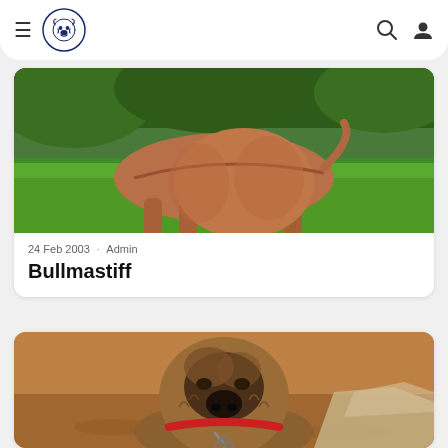Navigation bar with hamburger menu, bulldog logo, search icon, and user icon
[Figure (photo): A brown/tan dog standing on green grass, photographed from the rear/side, with lush green foliage in the background.]
24 Feb 2003 · Admin
Bullmastiff
[Figure (photo): A bullmastiff puppy with a red collar and chain, looking up at the camera, sitting on reddish-brown dirt ground near a wall.]